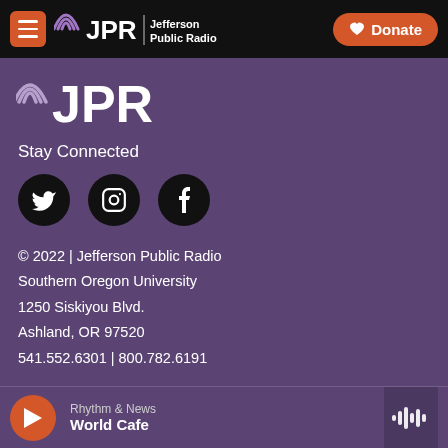JPR Jefferson Public Radio | Donate
[Figure (logo): JPR Jefferson Public Radio logo with signal waves and wordmark]
Stay Connected
[Figure (illustration): Social media icons: Twitter (bird), Instagram, Facebook on black circles]
© 2022 | Jefferson Public Radio
Southern Oregon University
1250 Siskiyou Blvd.
Ashland, OR 97520
541.552.6301 | 800.782.6191
Contact Us
Terms of Use
Rhythm & News | World Cafe